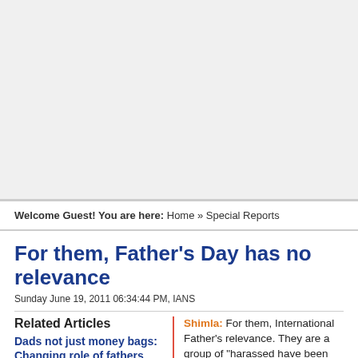[Figure (other): Advertisement placeholder area (white/grey box)]
Welcome Guest! You are here: Home » Special Reports
For them, Father's Day has no relevance
Sunday June 19, 2011 06:34:44 PM, IANS
Related Articles
Dads not just money bags: Changing role of fathers
Shimla: For them, International Father's relevance. They are a group of "harassed have been denied their parenting rights. divorced fathers who have been demand